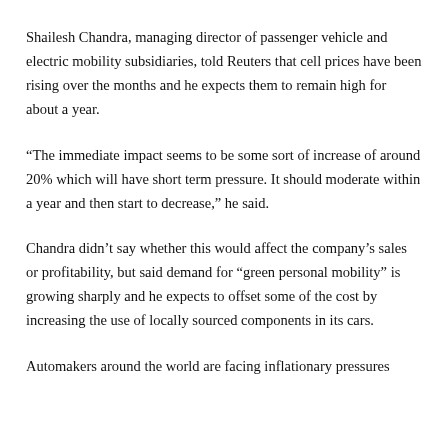Shailesh Chandra, managing director of passenger vehicle and electric mobility subsidiaries, told Reuters that cell prices have been rising over the months and he expects them to remain high for about a year.
“The immediate impact seems to be some sort of increase of around 20% which will have short term pressure. It should moderate within a year and then start to decrease,” he said.
Chandra didn’t say whether this would affect the company’s sales or profitability, but said demand for “green personal mobility” is growing sharply and he expects to offset some of the cost by increasing the use of locally sourced components in its cars.
Automakers around the world are facing inflationary pressures